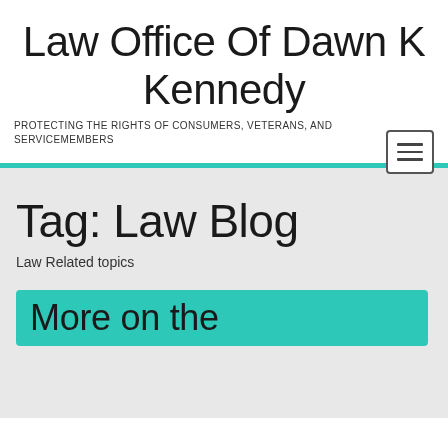Law Office Of Dawn K Kennedy
PROTECTING THE RIGHTS OF CONSUMERS, VETERANS, AND SERVICEMEMBERS
Tag: Law Blog
Law Related topics
More on the